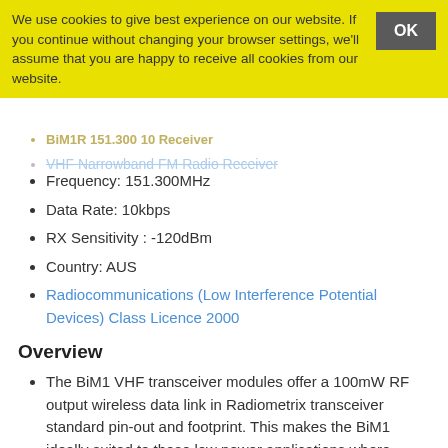We use cookies to give best experience on our website. If you continue without changing your browser settings, we'll assume that you are happy to receive all cookies from our website.
VHF Narrowband FM Radio Receiver
Frequency: 151.300MHz
Data Rate: 10kbps
RX Sensitivity : -120dBm
Country: AUS
Radiocommunications (Low Interference Potential Devices) Class Licence 2000
Overview
The BiM1 VHF transceiver modules offer a 100mW RF output wireless data link in Radiometrix transceiver standard pin-out and footprint. This makes the BiM1 ideally suited to those low power applications where existing wideband transceivers provide insufficient range.
The BiM1 is a half duplex radio transceiver module for use in long range bi-directional data transfer applications at ranges up to 10kilometres. The module operates on the UK licence exempt frequency of